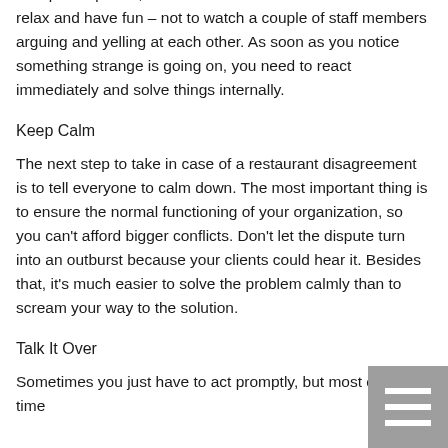workplace quarrel, but restaurant customers are there to relax and have fun – not to watch a couple of staff members arguing and yelling at each other. As soon as you notice something strange is going on, you need to react immediately and solve things internally.
Keep Calm
The next step to take in case of a restaurant disagreement is to tell everyone to calm down. The most important thing is to ensure the normal functioning of your organization, so you can't afford bigger conflicts. Don't let the dispute turn into an outburst because your clients could hear it. Besides that, it's much easier to solve the problem calmly than to scream your way to the solution.
Talk It Over
Sometimes you just have to act promptly, but most of the time